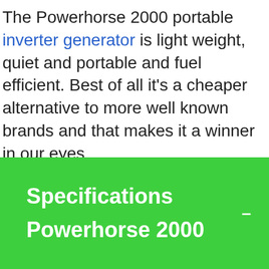The Powerhorse 2000 portable inverter generator is light weight, quiet and portable and fuel efficient. Best of all it's a cheaper alternative to more well known brands and that makes it a winner in our eyes.
Specifications Powerhorse 2000